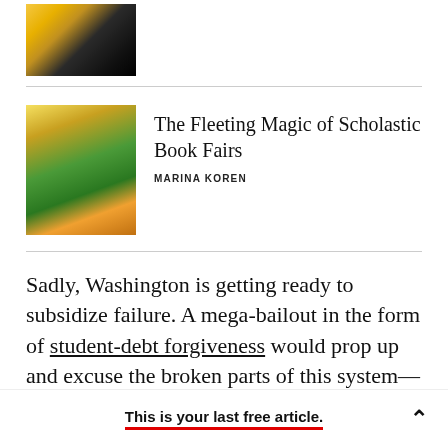[Figure (photo): Partial photo of people in yellow and black clothing at top of page]
[Figure (photo): Children in green and yellow shirts looking at books at a Scholastic Book Fair]
The Fleeting Magic of Scholastic Book Fairs
MARINA KOREN
Sadly, Washington is getting ready to subsidize failure. A mega-bailout in the form of student-debt forgiveness would prop up and excuse the broken parts of this system—missing the opportunity to go
This is your last free article.